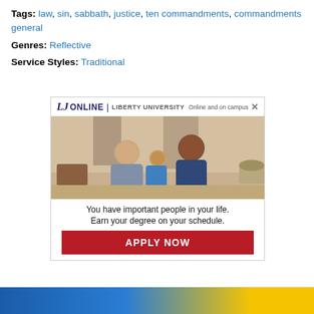Tags: law, sin, sabbath, justice, ten commandments, commandments general
Genres: Reflective
Service Styles: Traditional
[Figure (screenshot): Liberty University Online advertisement showing a family (man, woman, child), with text 'You have important people in your life. Earn your degree on your schedule.' and an APPLY NOW button.]